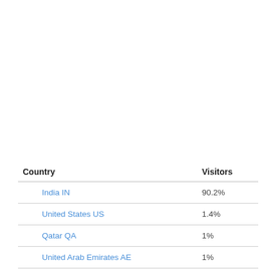| Country | Visitors |
| --- | --- |
| India IN | 90.2% |
| United States US | 1.4% |
| Qatar QA | 1% |
| United Arab Emirates AE | 1% |
| Saudi Arabia SA | 0.9% |